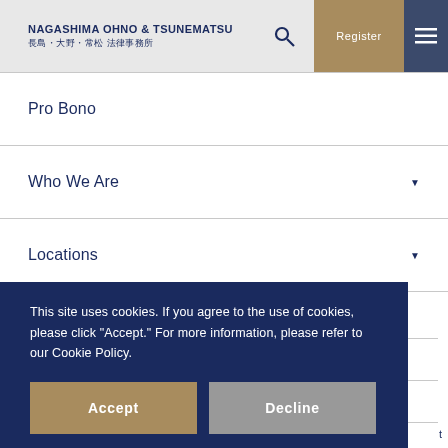Nagashima Ohno & Tsunematsu / 長島・大野・常松 法律事務所
Pro Bono
Who We Are
Locations
This site uses cookies. If you agree to the use of cookies, please click "Accept." For more information, please refer to our Cookie Policy.
Accept
Decline
Cookie Policy